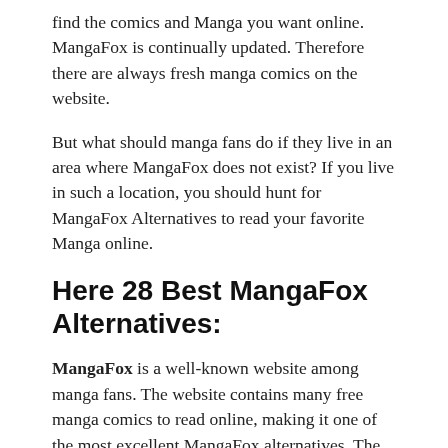find the comics and Manga you want online. MangaFox is continually updated. Therefore there are always fresh manga comics on the website.
But what should manga fans do if they live in an area where MangaFox does not exist? If you live in such a location, you should hunt for MangaFox Alternatives to read your favorite Manga online.
Here 28 Best MangaFox Alternatives:
MangaFox is a well-known website among manga fans. The website contains many free manga comics to read online, making it one of the most excellent MangaFox alternatives. The official site may find out at mangafox.com. If you want to read Manga online for free, you can do that with MangaFox.